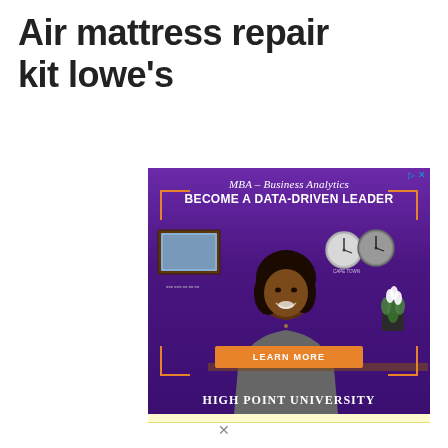Air mattress repair kit lowe's
[Figure (photo): Advertisement banner for High Point University MBA – Business Analytics program. Purple background with a smiling woman, text: 'MBA – Business Analytics', 'BECOME A DATA-DRIVEN LEADER', orange 'LEARN MORE' button, and 'HIGH POINT UNIVERSITY' at the bottom.]